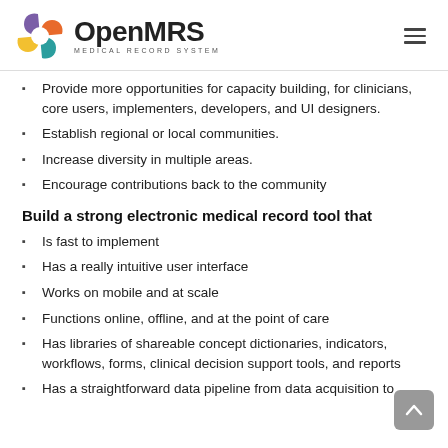[Figure (logo): OpenMRS Medical Record System logo with colored circular icon and hamburger menu]
Provide more opportunities for capacity building, for clinicians, core users, implementers, developers, and UI designers.
Establish regional or local communities.
Increase diversity in multiple areas.
Encourage contributions back to the community
Build a strong electronic medical record tool that
Is fast to implement
Has a really intuitive user interface
Works on mobile and at scale
Functions online, offline, and at the point of care
Has libraries of shareable concept dictionaries, indicators, workflows, forms, clinical decision support tools, and reports
Has a straightforward data pipeline from data acquisition to